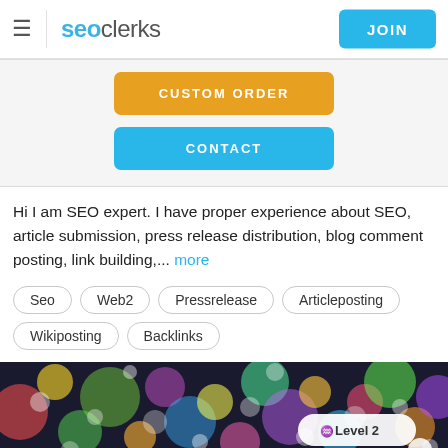seoclerks | JOIN
[Figure (screenshot): SEOClerks website interface showing CUSTOM ORDER (orange button) and CONTACT (blue button)]
Hi I am SEO expert. I have proper experience about SEO, article submission, press release distribution, blog comment posting, link building,... more
Seo
Web2
Pressrelease
Articleposting
Wikiposting
Backlinks
[Figure (photo): Colorful bokeh lights background with 'Level 2' badge overlay]